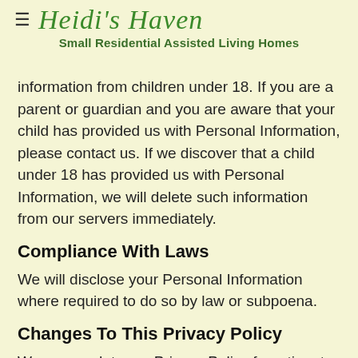Heidi's Haven
Small Residential Assisted Living Homes
information from children under 18. If you are a parent or guardian and you are aware that your child has provided us with Personal Information, please contact us. If we discover that a child under 18 has provided us with Personal Information, we will delete such information from our servers immediately.
Compliance With Laws
We will disclose your Personal Information where required to do so by law or subpoena.
Changes To This Privacy Policy
We may update our Privacy Policy from time to time. We will notify you of any changes by posting the new Privacy Policy on this page.